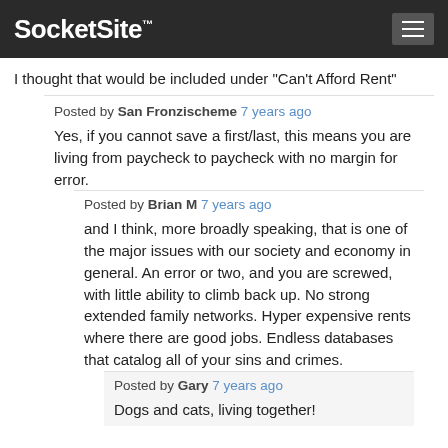SocketSite™
I thought that would be included under "Can't Afford Rent"
Posted by San Fronzischeme 7 years ago
Yes, if you cannot save a first/last, this means you are living from paycheck to paycheck with no margin for error.
Posted by Brian M 7 years ago
and I think, more broadly speaking, that is one of the major issues with our society and economy in general. An error or two, and you are screwed, with little ability to climb back up. No strong extended family networks. Hyper expensive rents where there are good jobs. Endless databases that catalog all of your sins and crimes.
Posted by Gary 7 years ago
Dogs and cats, living together!
Posted by Hunter 7 years ago
Maybe “moving costs” include setting up electricity bills, a deposit, buying furniture, etc.